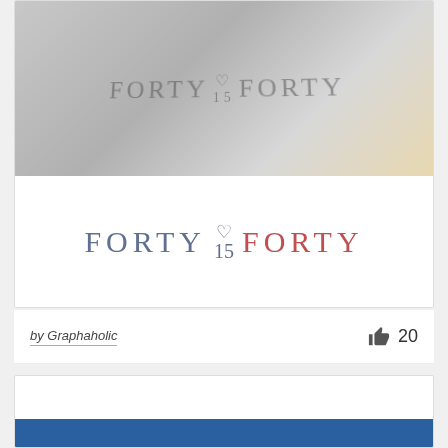[Figure (logo): Forty 15 Forty logo shown on textured paper with embossed/letterpress effect in gray tones. Text reads FORTY 15 FORTY with a heart symbol above the 15.]
[Figure (logo): Forty 15 Forty logo in color: FORTY in blue-gray, 15 with heart in blue-gray, FORTY in coral/red. Clean white background.]
by Graphaholic
20
[Figure (photo): Bottom card partially visible with a blue banner at the bottom edge.]